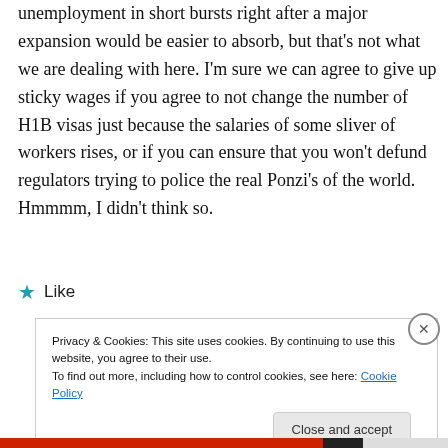unemployment in short bursts right after a major expansion would be easier to absorb, but that's not what we are dealing with here. I'm sure we can agree to give up sticky wages if you agree to not change the number of H1B visas just because the salaries of some sliver of workers rises, or if you can ensure that you won't defund regulators trying to police the real Ponzi's of the world. Hmmmm, I didn't think so.
★ Like
Privacy & Cookies: This site uses cookies. By continuing to use this website, you agree to their use.
To find out more, including how to control cookies, see here: Cookie Policy